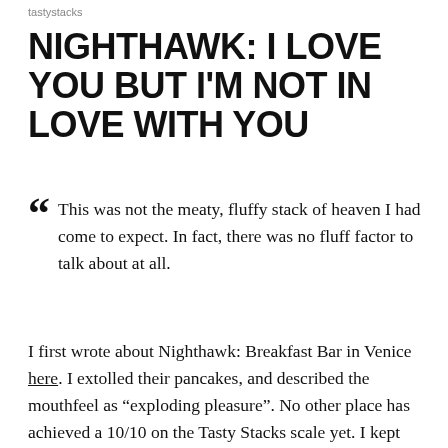tastystacks
NIGHTHAWK: I LOVE YOU BUT I'M NOT IN LOVE WITH YOU
This was not the meaty, fluffy stack of heaven I had come to expect. In fact, there was no fluff factor to talk about at all.
I first wrote about Nighthawk: Breakfast Bar in Venice here. I extolled their pancakes, and described the mouthfeel as “exploding pleasure”. No other place has achieved a 10/10 on the Tasty Stacks scale yet. I kept going back because they were dependably delectable on all fronts. Nighthawk